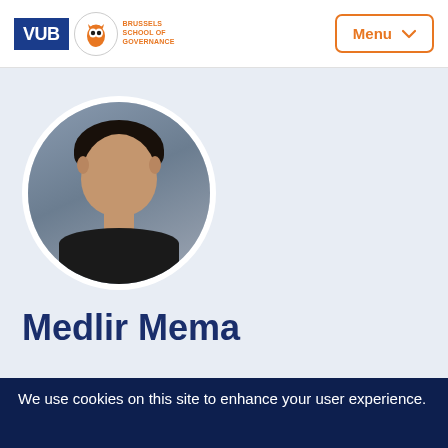VUB Brussels School of Governance | Menu
[Figure (photo): Circular profile photo of Medlir Mema, a man with dark hair wearing a dark suit and white shirt, against a grey background]
Medlir Mema
We use cookies on this site to enhance your user experience.